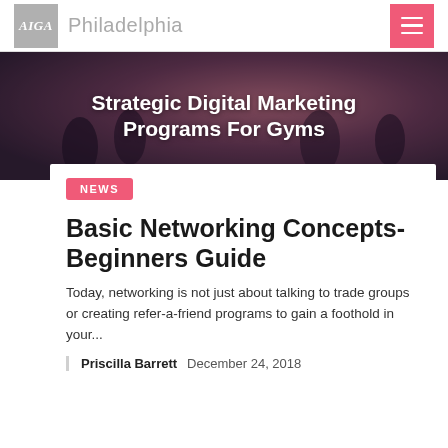AIGA Philadelphia
[Figure (photo): Hero banner with fitness/gym background showing people exercising, with text overlay: Strategic Digital Marketing Programs For Gyms]
Strategic Digital Marketing Programs For Gyms
NEWS
Basic Networking Concepts-Beginners Guide
Today, networking is not just about talking to trade groups or creating refer-a-friend programs to gain a foothold in your...
Priscilla Barrett   December 24, 2018